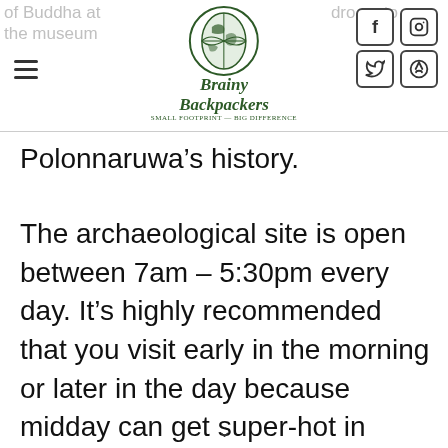of Buddha at the museum | Brainy Backpackers logo | drop in to Polonnaruwa's history. | social icons
Polonnaruwa’s history.
The archaeological site is open between 7am – 5:30pm every day. It’s highly recommended that you visit early in the morning or later in the day because midday can get super-hot in Central Sri Lanka.